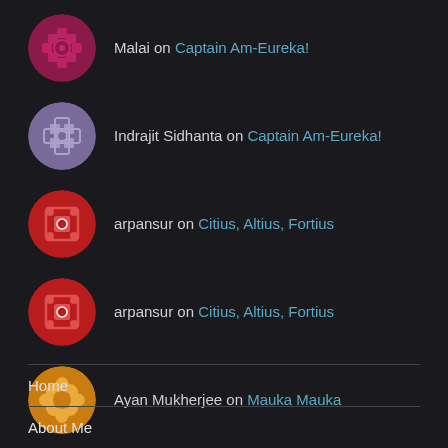Malai on Captain Am-Eureka!
Indrajit Sidhanta on Captain Am-Eureka!
arpansur on Citius, Altius, Fortius
arpansur on Citius, Altius, Fortius
Ayan Mukherjee on Mauka Mauka
Home
About Me